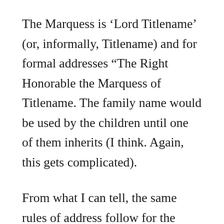The Marquess is ‘Lord Titlename’ (or, informally, Titlename) and for formal addresses “The Right Honorable the Marquess of Titlename. The family name would be used by the children until one of them inherits (I think. Again, this gets complicated).
From what I can tell, the same rules of address follow for the remaining ranks, except for a few degrees in the children.